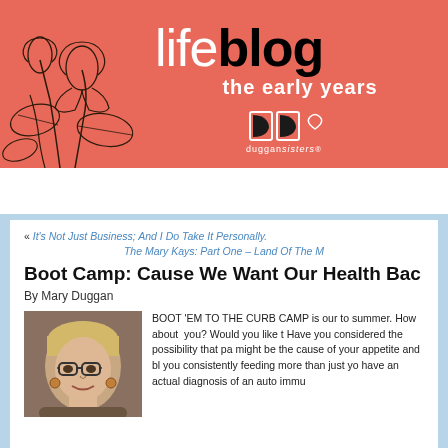[Figure (illustration): Lifeblog header banner with salmon/coral background, lotus flower line art on left, 'lifeblog the early years' title text, and Duggan Sisters logo]
HOME | DEODORANT | BUG REPELLENT | S
« It's Not Just Business; And I Do Take It Personally.
The Mary Kays: Part One – Land Of The M
Boot Camp: Cause We Want Our Health Bac
By Mary Duggan
[Figure (photo): Headshot photo of Mary Duggan, a woman with short blonde hair wearing glasses and earrings]
BOOT 'EM TO THE CURB CAMP is our to summer. How about you? Would you like t Have you considered the possibility that pa might be the cause of your appetite and bl you consistently feeding more than just yo have an actual diagnosis of an auto immu